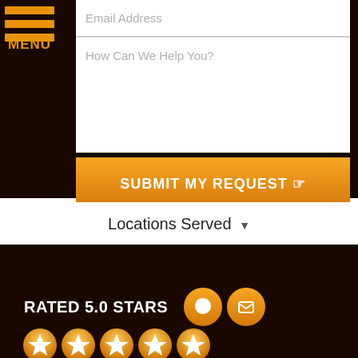[Figure (screenshot): Navigation menu icon with three orange horizontal bars and orange MENU label]
Email Address
How Can We Help You?
SUBMIT MY REQUEST
Locations Served
RATED 5.0 STARS
[Figure (illustration): Five gold/orange star rating icons]
[Figure (illustration): Orange circle phone icon]
[Figure (illustration): Orange circle email/envelope icon]